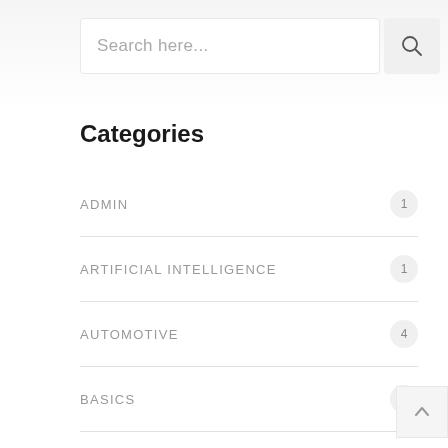Search here...
Categories
ADMIN 1
ARTIFICIAL INTELLIGENCE 1
AUTOMOTIVE 4
BASICS 1
BLOCKCHAIN 1
CHEMTECH 5
CRYPTOCURRENCIES 1